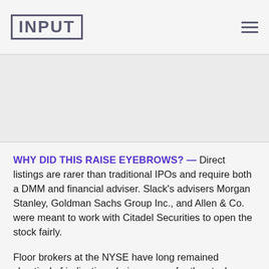INPUT
[Figure (other): Advertisement/banner placeholder area]
WHY DID THIS RAISE EYEBROWS? — Direct listings are rarer than traditional IPOs and require both a DMM and financial adviser. Slack's advisers Morgan Stanley, Goldman Sachs Group Inc., and Allen & Co. were meant to work with Citadel Securities to open the stock fairly.
Floor brokers at the NYSE have long remained skeptical of indications (price ranges for the stock released the morning of its listing) from DMMs running low and the